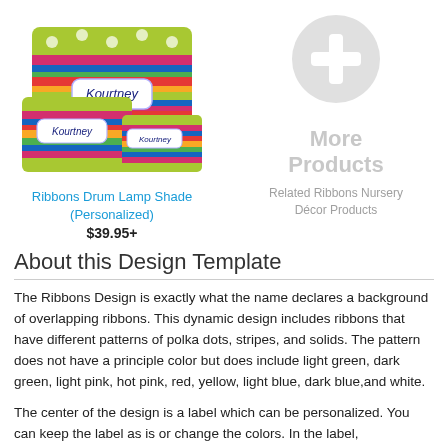[Figure (photo): Colorful ribbons drum lamp shade with Kourtney personalized name, showing three sizes stacked together with polka dots and stripes pattern]
[Figure (other): Gray circle with white plus sign indicating more products]
Ribbons Drum Lamp Shade (Personalized)
$39.95+
Related Ribbons Nursery Décor Products
About this Design Template
The Ribbons Design is exactly what the name declares a background of overlapping ribbons. This dynamic design includes ribbons that have different patterns of polka dots, stripes, and solids. The pattern does not have a principle color but does include light green, dark green, light pink, hot pink, red, yellow, light blue, dark blue,and white.
The center of the design is a label which can be personalized. You can keep the label as is or change the colors. In the label,